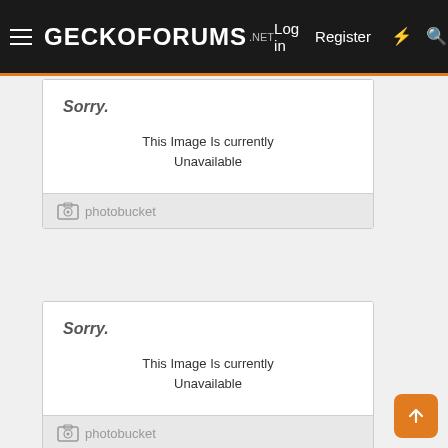GeckoForums.net — Log in  Register
[Figure (screenshot): Photobucket unavailable image placeholder #1 — Sorry. This Image Is currently Unavailable]
[Figure (screenshot): Photobucket unavailable image placeholder #2 — Sorry. This Image Is currently Unavailable]
[Figure (screenshot): Photobucket unavailable image placeholder #3 — Sorry. This Image Is currently Unavailable]